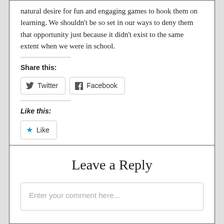natural desire for fun and engaging games to hook them on learning. We shouldn't be so set in our ways to deny them that opportunity just because it didn't exist to the same extent when we were in school.
Share this:
Twitter
Facebook
Like this:
Like
Be the first to like this.
Leave a Reply
Enter your comment here...